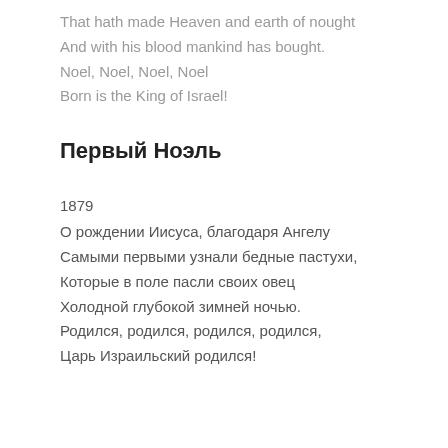That hath made Heaven and earth of nought
And with his blood mankind has bought.
Noel, Noel, Noel, Noel
Born is the King of Israel!
Первый Ноэль
1879
О рождении Иисуса, благодаря Ангелу
Самыми первыми узнали бедные пастухи,
Которые в поле пасли своих овец
Холодной глубокой зимней ночью.
Родился, родился, родился, родился,
Царь Израильский родился!